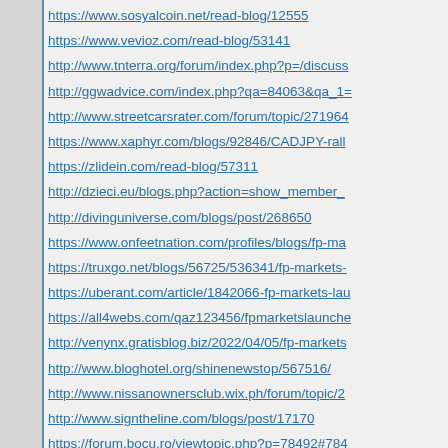https://www.sosyalcoin.net/read-blog/12555
https://www.vevioz.com/read-blog/53141
http://www.tnterra.org/forum/index.php?p=/discuss...
http://ggwadvice.com/index.php?qa=84063&qa_1=...
http://www.streetcarsrater.com/forum/topic/271964...
https://www.xaphyr.com/blogs/92846/CADJPY-rall...
https://zlidein.com/read-blog/57311
http://dzieci.eu/blogs.php?action=show_member_...
http://divinguniverse.com/blogs/post/268650
https://www.onfeetnation.com/profiles/blogs/fp-ma...
https://truxgo.net/blogs/56725/536341/fp-markets-...
https://uberant.com/article/1842066-fp-markets-lau...
https://all4webs.com/qaz123456/fpmarketslaunche...
http://venynx.gratisblog.biz/2022/04/05/fp-markets...
http://www.bloghotel.org/shinenewstop/567516/
http://www.nissanownersclub.wix.ph/forum/topic/2...
http://www.signtheline.com/blogs/post/17170
https://forum.bocu.ro/viewtopic.php?p=78492#784...
https://forum-feminin.xooit.org/t103166-FP-Market...
https://testbitcoin.live/forum/showthread.php?tid=6...
http://fat-forums.com/forums/index.php?/topic/195...
http://foro.testdevelocidadinternet.com/viewtopic.p...
http://www.wollfraktion.de/phorum/read.php?10,74...
http://www.gfl.jp/modules/d3forum/index.php?post...
http://forum.esperanto.cz/showthread.php?tid=183...